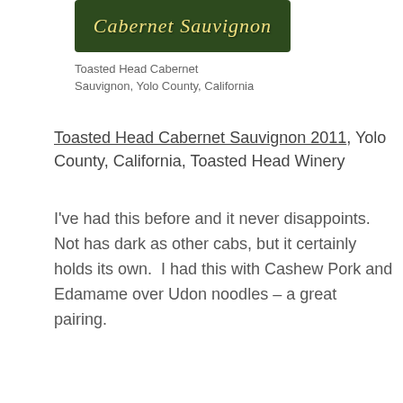[Figure (photo): Partial wine bottle label showing cursive script text 'Cabernet Sauvignon' on a dark green background]
Toasted Head Cabernet Sauvignon, Yolo County, California
Toasted Head Cabernet Sauvignon 2011, Yolo County, California, Toasted Head Winery
I've had this before and it never disappoints.  Not has dark as other cabs, but it certainly holds its own.  I had this with Cashew Pork and Edamame over Udon noodles – a great pairing.